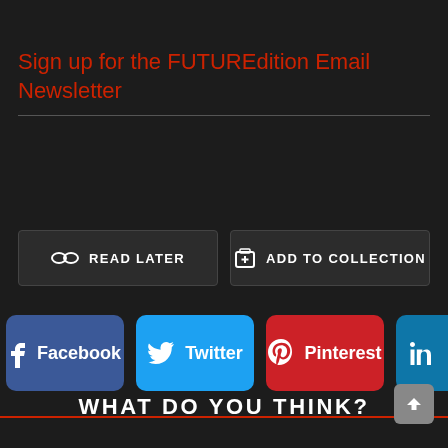Sign up for the FUTUREdition Email Newsletter
READ LATER
ADD TO COLLECTION
[Figure (other): Social sharing buttons row: Facebook (blue), Twitter (cyan), Pinterest (red), LinkedIn (blue, partially visible)]
WHAT DO YOU THINK?